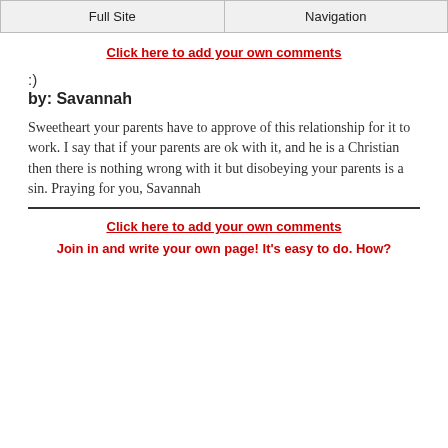Full Site | Navigation
Click here to add your own comments
:)
by: Savannah
Sweetheart your parents have to approve of this relationship for it to work. I say that if your parents are ok with it, and he is a Christian then there is nothing wrong with it but disobeying your parents is a sin. Praying for you, Savannah
Click here to add your own comments
Join in and write your own page! It's easy to do. How?